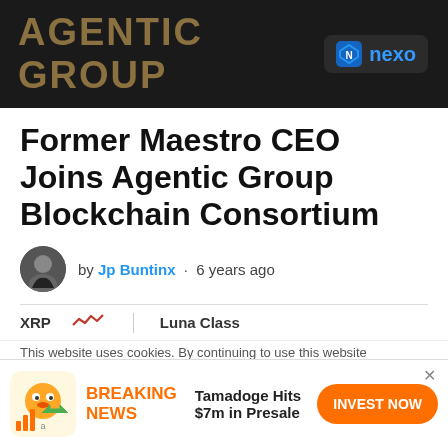[Figure (logo): Agentic Group banner ad with Nexo logo on dark background]
Former Maestro CEO Joins Agentic Group Blockchain Consortium
by Jp Buntinx · 6 years ago
XRP  Luna Class
This website uses cookies. By continuing to use this website
[Figure (infographic): Breaking News ad: Tamadoge Hits $7m in Presale with INVEST NOW button]